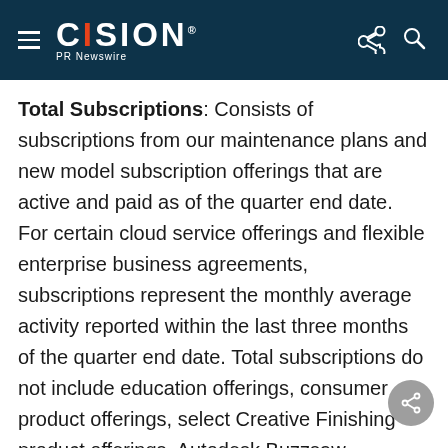CISION PR Newswire
Total Subscriptions: Consists of subscriptions from our maintenance plans and new model subscription offerings that are active and paid as of the quarter end date.  For certain cloud service offerings and flexible enterprise business agreements, subscriptions represent the monthly average activity reported within the last three months of the quarter end date. Total subscriptions do not include education offerings, consumer product offerings, select Creative Finishing product offerings, Autodesk Buzzsaw, Autodesk Constructware, and third party products. Subscriptions acquired with the acquisition of a business are captured once the data conforms to our subscription reporting standards and can be validated.